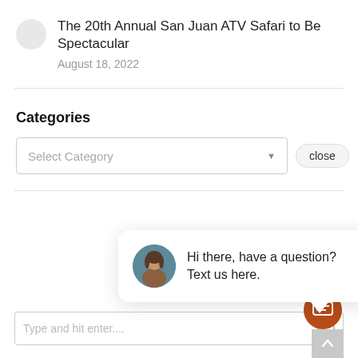The 20th Annual San Juan ATV Safari to Be Spectacular
August 18, 2022
Categories
[Figure (screenshot): Dropdown select box labeled 'Select Category' with a close button]
[Figure (screenshot): Chat popup with avatar photo of a woman, message: 'Hi there, have a question? Text us here.']
Type and hit enter....